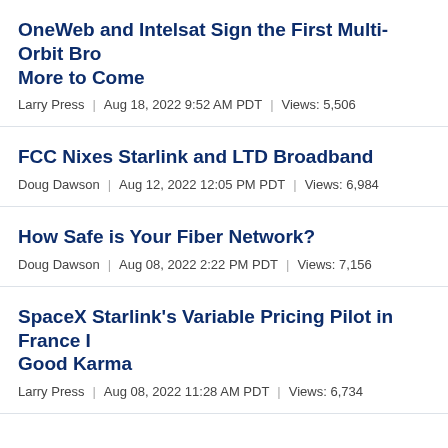OneWeb and Intelsat Sign the First Multi-Orbit Bro... More to Come
Larry Press | Aug 18, 2022 9:52 AM PDT | Views: 5,506
FCC Nixes Starlink and LTD Broadband
Doug Dawson | Aug 12, 2022 12:05 PM PDT | Views: 6,984
How Safe is Your Fiber Network?
Doug Dawson | Aug 08, 2022 2:22 PM PDT | Views: 7,156
SpaceX Starlink's Variable Pricing Pilot in France ... Good Karma
Larry Press | Aug 08, 2022 11:28 AM PDT | Views: 6,734